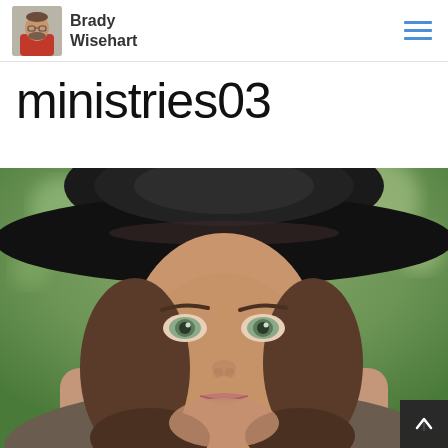Brady Wisehart
ministries03
[Figure (photo): Close-up portrait of a young woman wearing a large black wide-brim hat, with brown hair, light eyes, and a blurred green outdoor background.]